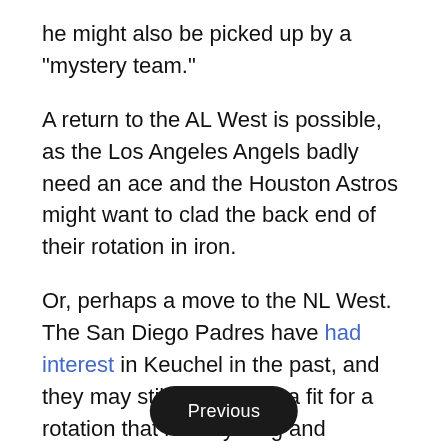he might also be picked up by a "mystery team."
A return to the AL West is possible, as the Los Angeles Angels badly need an ace and the Houston Astros might want to clad the back end of their rotation in iron.
Or, perhaps a move to the NL West. The San Diego Padres have had interest in Keuchel in the past, and they may still see him as a fit for a rotation that leans young and inexperienced.
The Red Sox and Phillies, meanwhile, are probably longer shots for Keuchel than they are for Kimbrel. But the former could go for him if David Price and Nathan Eovaldi hit setbacks in their returns from elbow injuries. For their part, the Phillies might want to stabilize their rotation outside of Aaron Nola and Jake A